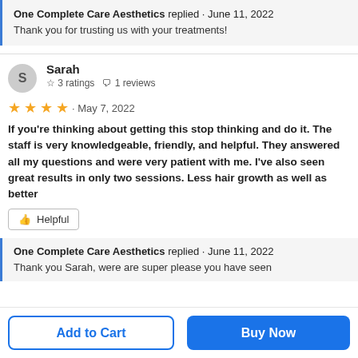One Complete Care Aesthetics replied · June 11, 2022
Thank you for trusting us with your treatments!
Sarah
☆ 3 ratings  🗨 1 reviews
★★★★ · May 7, 2022
If you're thinking about getting this stop thinking and do it. The staff is very knowledgeable, friendly, and helpful. They answered all my questions and were very patient with me. I've also seen great results in only two sessions. Less hair growth as well as better
👍 Helpful
One Complete Care Aesthetics replied · June 11, 2022
Thank you Sarah, were are super please you have seen
Add to Cart
Buy Now